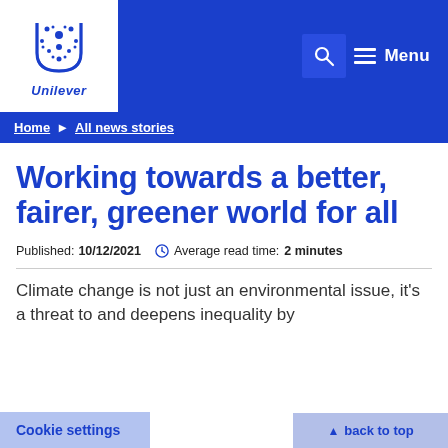Unilever logo, search, Menu navigation
Home ▶ All news stories
Working towards a better, fairer, greener world for all
Published: 10/12/2021   Average read time: 2 minutes
Climate change is not just an environmental issue, it's a threat to and deepens inequality by